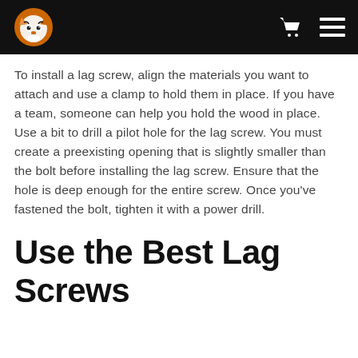[Tiger logo] [Cart icon] [Menu icon]
To install a lag screw, align the materials you want to attach and use a clamp to hold them in place. If you have a team, someone can help you hold the wood in place. Use a bit to drill a pilot hole for the lag screw. You must create a preexisting opening that is slightly smaller than the bolt before installing the lag screw. Ensure that the hole is deep enough for the entire screw. Once you've fastened the bolt, tighten it with a power drill.
Use the Best Lag Screws